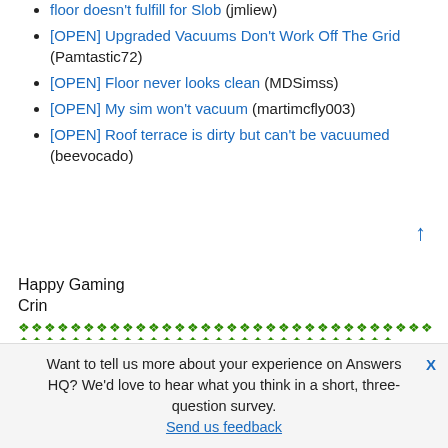floor doesn't fulfill for Slob (jmliew)
[OPEN] Upgraded Vacuums Don't Work Off The Grid (Pamtastic72)
[OPEN] Floor never looks clean (MDSimss)
[OPEN] My sim won't vacuum (martimcfly003)
[OPEN] Roof terrace is dirty but can't be vacuumed (beevocado)
Happy Gaming
Crin
❖❖❖❖❖❖❖❖❖❖❖❖❖❖❖❖❖❖❖❖❖❖❖❖❖❖❖❖❖❖❖❖❖❖❖❖❖❖❖❖❖❖❖❖❖❖❖❖❖❖❖❖❖❖❖❖❖❖❖❖❖
I don't work or have any association with EA. I give advice to the best of my knowledge and cannot be held responsible for any damage done to your computer/game.
Please only contact me via PM when asked to do so.
Want to tell us more about your experience on Answers HQ? We'd love to hear what you think in a short, three-question survey. Send us feedback